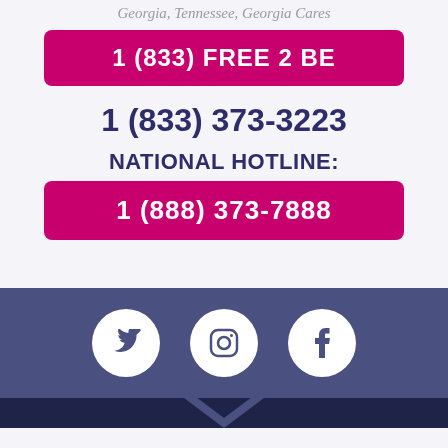Georgia, Tennessee, Georgia Cares
1 (833) FREE 2 BE
1 (833) 373-3223
NATIONAL HOTLINE:
1 (888) 373-7888
[Figure (infographic): Social media icons: Twitter, Instagram, Facebook in white circles on a blue-purple bar]
[Figure (logo): Dark navy footer bar with a partial chevron/arrow logo]